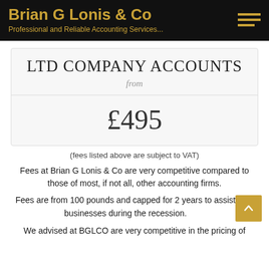Brian G Lonis & Co — Professional and Reliable Accounting Services...
LTD COMPANY ACCOUNTS
from
£495
(fees listed above are subject to VAT)
Fees at Brian G Lonis & Co are very competitive compared to those of most, if not all, other accounting firms.
Fees are from 100 pounds and capped for 2 years to assist businesses during the recession.